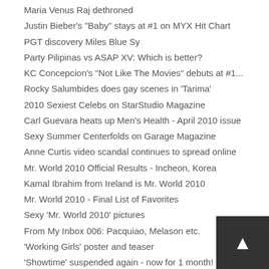Maria Venus Raj dethroned
Justin Bieber's "Baby" stays at #1 on MYX Hit Chart
PGT discovery Miles Blue Sy
Party Pilipinas vs ASAP XV: Which is better?
KC Concepcion's "Not Like The Movies" debuts at #1...
Rocky Salumbides does gay scenes in 'Tarima'
2010 Sexiest Celebs on StarStudio Magazine
Carl Guevara heats up Men's Health - April 2010 issue
Sexy Summer Centerfolds on Garage Magazine
Anne Curtis video scandal continues to spread online
Mr. World 2010 Official Results - Incheon, Korea
Kamal Ibrahim from Ireland is Mr. World 2010
Mr. World 2010 - Final List of Favorites
Sexy 'Mr. World 2010' pictures
From My Inbox 006: Pacquiao, Melason etc.
'Working Girls' poster and teaser
'Showtime' suspended again - now for 1 month!
Cast Your Votes: Mr. World 2010 Fun Poll
Justin Timberlake wants to marry Ginger Conejero
Cesar Montano's son Christian Angelo dies
Beyonce is rumored pregnant